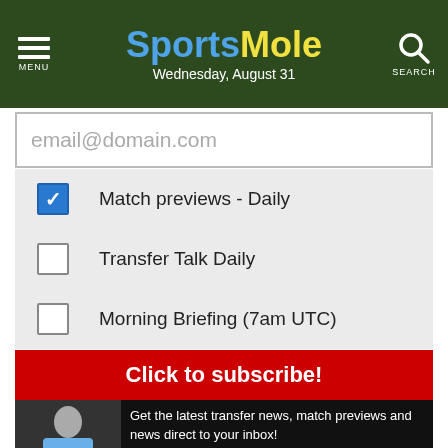Sports Mole — Wednesday, August 31
email@domain.com
Match previews - Daily
Transfer Talk Daily
Morning Briefing (7am UTC)
Click to subscribe!
Get the latest transfer news, match previews and news direct to your inbox!
[Figure (illustration): Dark green rectangular block at bottom of page]